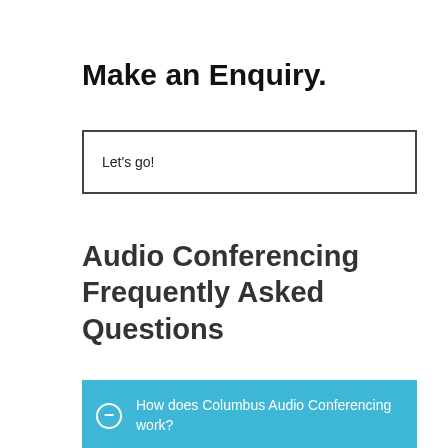Make an Enquiry.
Let's go!
Audio Conferencing Frequently Asked Questions
How does Columbus Audio Conferencing work?
Simply tell your conference call